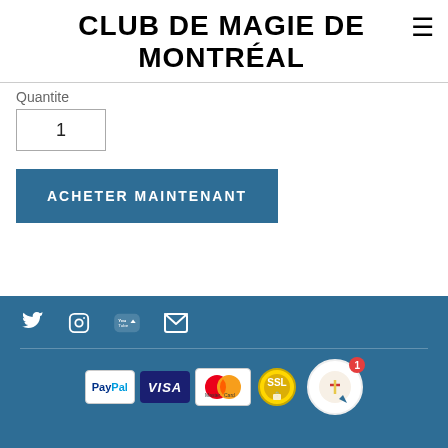CLUB DE MAGIE DE MONTRÉAL
Quantite
1
ACHETER MAINTENANT
Social icons: Twitter, Instagram, YouTube, Email. Payment logos: PayPal, VISA, MasterCard, SSL